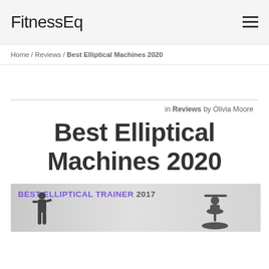FitnessEq
Home / Reviews / Best Elliptical Machines 2020
in Reviews by Olivia Moore
Best Elliptical Machines 2020
[Figure (photo): Hero banner image showing BEST ELLIPTICAL TRAINER 2017 text with silhouettes of people using elliptical machines]